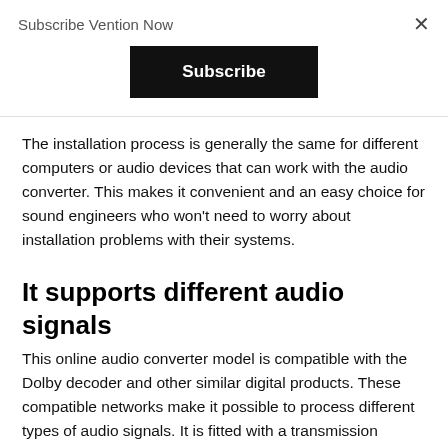Subscribe Vention Now
Subscribe
The installation process is generally the same for different computers or audio devices that can work with the audio converter. This makes it convenient and an easy choice for sound engineers who won't need to worry about installation problems with their systems.
It supports different audio signals
This online audio converter model is compatible with the Dolby decoder and other similar digital products. These compatible networks make it possible to process different types of audio signals. It is fitted with a transmission support system that easily processes uncompressed audio signals as well.
This convenient feature allows sound engineers to work faster and